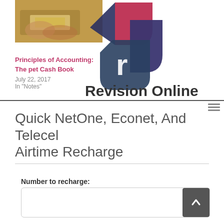[Figure (photo): Photo thumbnail of hands holding money, partially visible]
[Figure (logo): Revision Online logo with geometric icon (red, purple, navy shapes) and bold dark text 'Revision Online']
Principles of Accounting: The pet Cash Book
July 22, 2017
In "Notes"
Quick NetOne, Econet, And Telecel Airtime Recharge
Number to recharge: